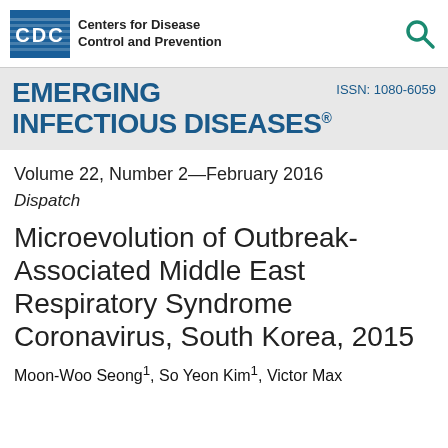[Figure (logo): CDC (Centers for Disease Control and Prevention) logo with blue box containing CDC text and stripes, alongside agency name text, and a teal search icon on the right]
EMERGING INFECTIOUS DISEASES® ISSN: 1080-6059
Volume 22, Number 2—February 2016
Dispatch
Microevolution of Outbreak-Associated Middle East Respiratory Syndrome Coronavirus, South Korea, 2015
Moon-Woo Seong1, So Yeon Kim1, Victor Max